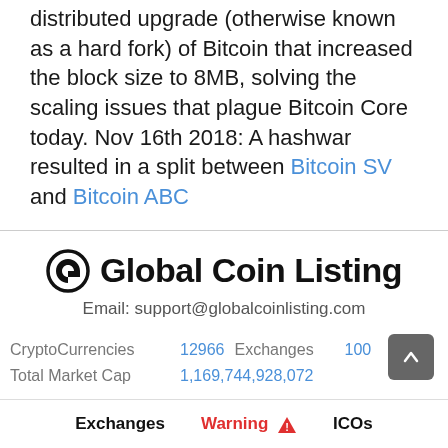distributed upgrade (otherwise known as a hard fork) of Bitcoin that increased the block size to 8MB, solving the scaling issues that plague Bitcoin Core today. Nov 16th 2018: A hashwar resulted in a split between Bitcoin SV and Bitcoin ABC
[Figure (logo): Global Coin Listing logo with stylized G icon]
Email: support@globalcoinlisting.com
CryptoCurrencies  12966    Exchanges  100
Total Market Cap  1,169,744,928,072
Exchanges   Warning ⚠   ICOs